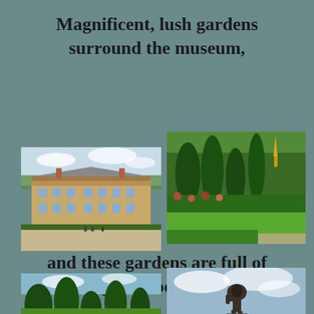Magnificent, lush gardens surround the museum,
[Figure (photo): Classic French mansion/museum building with stone facade, courtyard with visitors]
[Figure (photo): Lush garden with conical topiary trees, roses, green lawn, golden spire in background]
and these gardens are full of castings of Rodin’s works.
[Figure (photo): Garden with shaped topiary trees under a blue sky]
[Figure (photo): Bronze sculpture casting by Rodin against a cloudy sky]